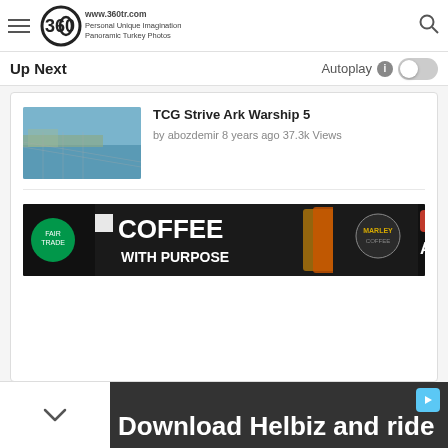360tr.com — Personal Unique Imagination, Panoramic Turkey Photos
Up Next
Autoplay
TCG Strive Ark Warship 5
by abozdemir 8 years ago 37.3k Views
[Figure (screenshot): Screenshot of a website sidebar showing a video thumbnail of a coastal/harbor scene labeled 'TCG Strive Ark Warship 5' by abozdemir 8 years ago 37.3k Views, followed by a Marley Coffee advertisement banner for Amazon.com, and a partial footer ad reading 'Download Helbiz and ride']
Download Helbiz and ride